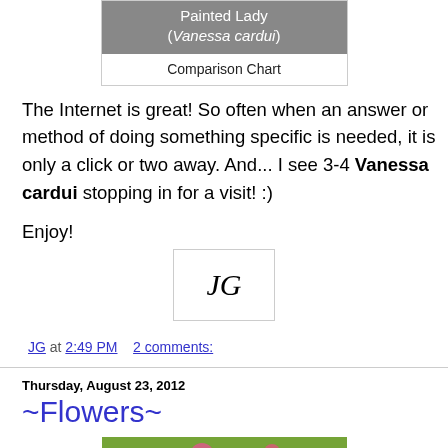[Figure (other): Box with gray header showing 'Painted Lady (Vanessa cardui)' and caption 'Comparison Chart' below]
The Internet is great!  So often when an answer or method of doing something specific is needed, it is only a click or two away.  And... I see 3-4 Vanessa cardui stopping in for a visit!  :)
Enjoy!
[Figure (illustration): Handwritten initials 'JG' in a white box with border]
JG at 2:49 PM    2 comments:
Thursday, August 23, 2012
~Flowers~
[Figure (photo): Partial photo of flowers (zinnias) in a garden with green foliage]